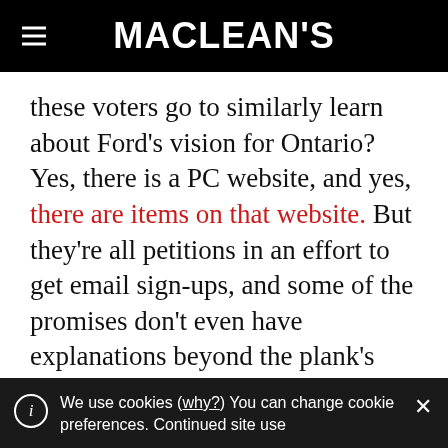MACLEAN'S
these voters go to similarly learn about Ford's vision for Ontario? Yes, there is a PC website, and yes, there are items on that website. But they're all petitions in an effort to get email sign-ups, and some of the promises don't even have explanations beyond the plank's headline. And are they everything? Or is there more to come? Is it affordable? Even voters desperate for change like to see a piece of paper with
We use cookies (why?) You can change cookie preferences. Continued site use